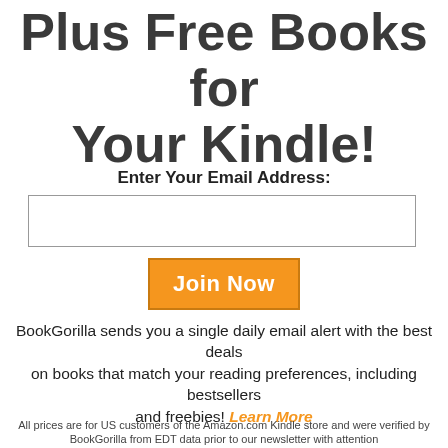Plus Free Books for Your Kindle!
Enter Your Email Address:
Join Now
BookGorilla sends you a single daily email alert with the best deals on books that match your reading preferences, including bestsellers and freebies! Learn More
All prices are for US customers of the Amazon.com Kindle store and were verified by BookGorilla from EDT data prior to our newsletter publication.